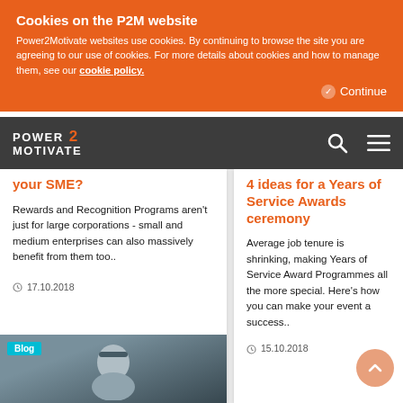Cookies on the P2M website
Power2Motivate websites use cookies. By continuing to browse the site you are agreeing to our use of cookies. For more details about cookies and how to manage them, see our cookie policy.
Continue
[Figure (logo): Power2Motivate logo with orange '2' and navigation icons (search, menu)]
your SME?
Rewards and Recognition Programs aren't just for large corporations - small and medium enterprises can also massively benefit from them too..
17.10.2018
4 ideas for a Years of Service Awards ceremony
Average job tenure is shrinking, making Years of Service Award Programmes all the more special. Here's how you can make your event a success..
15.10.2018
[Figure (photo): Blog thumbnail showing a person wearing a hat and glasses against a grey background, with a 'Blog' tag overlay]